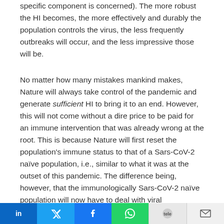specific component is concerned). The more robust the HI becomes, the more effectively and durably the population controls the virus, the less frequently outbreaks will occur, and the less impressive those will be.
No matter how many mistakes mankind makes, Nature will always take control of the pandemic and generate sufficient HI to bring it to an end. However, this will not come without a dire price to be paid for an immune intervention that was already wrong at the root. This is because Nature will first reset the population's immune status to that of a Sars-CoV-2 naïve population, i.e., similar to what it was at the outset of this pandemic. The difference being, however, that the immunologically Sars-CoV-2 naïve population will now have to deal with viral
in | Twitter | f | WhatsApp | telegram | email